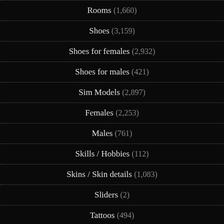Rooms (1,660)
Shoes (3,159)
Shoes for females (2,932)
Shoes for males (421)
Sim Models (2,897)
Females (2,253)
Males (761)
Skills / Hobbies (112)
Skins / Skin details (1,083)
Sliders (2)
Tattoos (494)
Teeth (60)
Terrain Paints (172)